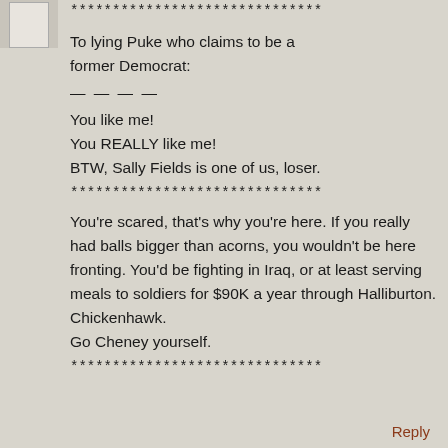[Figure (other): User avatar thumbnail, partially visible, grey tones]
******************************
To lying Puke who claims to be a former Democrat:
— — — —
You like me!
You REALLY like me!
BTW, Sally Fields is one of us, loser.
******************************
You're scared, that's why you're here. If you really had balls bigger than acorns, you wouldn't be here fronting. You'd be fighting in Iraq, or at least serving meals to soldiers for $90K a year through Halliburton.
Chickenhawk.
Go Cheney yourself.
******************************
Reply